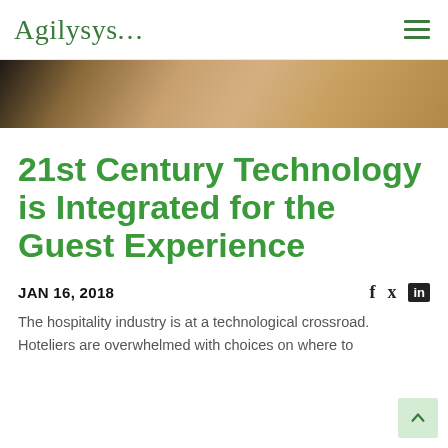Agilysys...
[Figure (photo): Hero banner image showing a warm-toned close-up background with brown and beige tones, likely a hospitality-themed decorative image.]
21st Century Technology is Integrated for the Guest Experience
JAN 16, 2018
The hospitality industry is at a technological crossroad. Hoteliers are overwhelmed with choices on where to